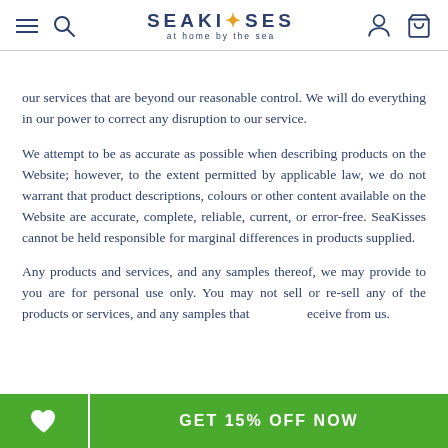SEAKISSES at home by the sea
our services that are beyond our reasonable control. We will do everything in our power to correct any disruption to our service.
We attempt to be as accurate as possible when describing products on the Website; however, to the extent permitted by applicable law, we do not warrant that product descriptions, colours or other content available on the Website are accurate, complete, reliable, current, or error-free. SeaKisses cannot be held responsible for marginal differences in products supplied.
Any products and services, and any samples thereof, we may provide to you are for personal use only. You may not sell or re-sell any of the products or services, and any samples that receive from us.